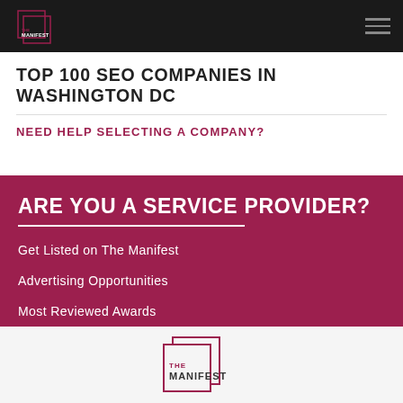THE MANIFEST (logo + nav)
TOP 100 SEO COMPANIES IN WASHINGTON DC
NEED HELP SELECTING A COMPANY?
ARE YOU A SERVICE PROVIDER?
Get Listed on The Manifest
Advertising Opportunities
Most Reviewed Awards
[Figure (logo): The Manifest logo — large version in footer area]